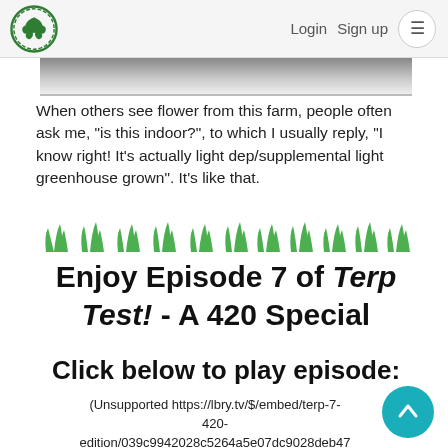Login  Sign up  ☰
[Figure (photo): Partial image of what appears to be a cannabis plant or flower, greyscale gradient strip visible at top]
When others see flower from this farm, people often ask me, "is this indoor?", to which I usually reply, "I know right! It's actually light dep/supplemental light greenhouse grown". It's like that.
[Figure (illustration): Decorative grass/plant border strip in green]
Enjoy Episode 7 of Terp Test! - A 420 Special
Click below to play episode:
(Unsupported https://lbry.tv/$/embed/terp-7-420-edition/039c9942028c5264a5e07dc9028deb47 321831e12